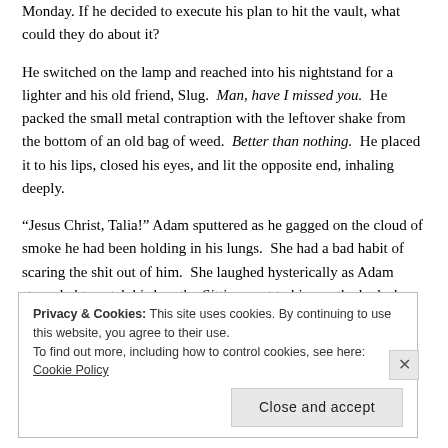Monday.  If he decided to execute his plan to hit the vault, what could they do about it?
He switched on the lamp and reached into his nightstand for a lighter and his old friend, Slug.  Man, have I missed you.  He packed the small metal contraption with the leftover shake from the bottom of an old bag of weed.  Better than nothing.  He placed it to his lips, closed his eyes, and lit the opposite end, inhaling deeply.
“Jesus Christ, Talia!” Adam sputtered as he gagged on the cloud of smoke he had been holding in his lungs.  She had a bad habit of scaring the shit out of him.  She laughed hysterically as Adam struggled to catch his breath.  Sitting next to him on the bed, she removed Slug from Adam’s hand.
Privacy & Cookies: This site uses cookies. By continuing to use this website, you agree to their use.
To find out more, including how to control cookies, see here: Cookie Policy